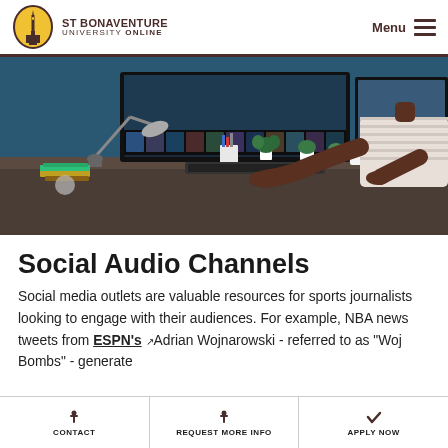St Bonaventure University Online | Menu
[Figure (photo): Person working at a desk with dual monitors showing video editing software, with plants, books, and a lamp in the background]
Social Audio Channels
Social media outlets are valuable resources for sports journalists looking to engage with their audiences. For example, NBA news tweets from ESPN's Adrian Wojnarowski - referred to as "Woj Bombs" - generate
CONTACT | REQUEST MORE INFO | APPLY NOW